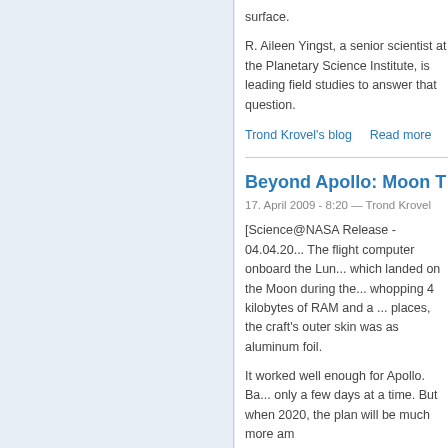surface.
R. Aileen Yingst, a senior scientist at the Planetary Science Institute, is leading field studies to answer that question.
Trond Krovel's blog    Read more
Beyond Apollo: Moon T
17. April 2009 - 8:20 — Trond Krovel
[Science@NASA Release - 04.04.20... The flight computer onboard the Lun... which landed on the Moon during the... whopping 4 kilobytes of RAM and a ... places, the craft's outer skin was as ... aluminum foil.
It worked well enough for Apollo. Ba... only a few days at a time. But when ... 2020, the plan will be much more am